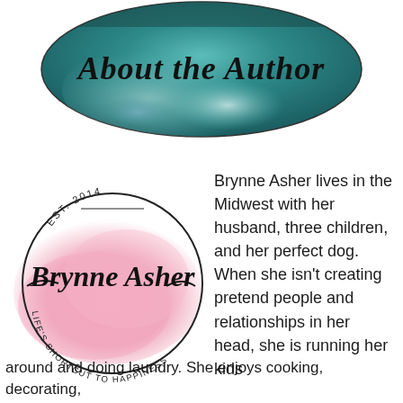[Figure (illustration): Oval banner with teal watercolor paint background and cursive text reading 'About the Author']
[Figure (logo): Brynne Asher author logo: circular badge with cursive 'Brynne Asher' text over a pink watercolor splash, text 'EST. 2014' at top, and curved text 'LIFE'S SHORTCUT TO HAPPINESS' at bottom]
Brynne Asher lives in the Midwest with her husband, three children, and her perfect dog. When she isn't creating pretend people and relationships in her head, she is running her kids around and doing laundry. She enjoys cooking, decorating,